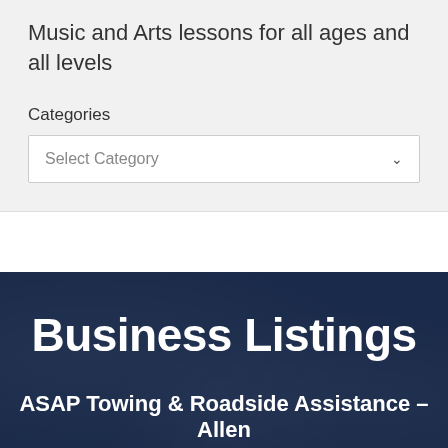Music and Arts lessons for all ages and all levels
Categories
Select Category
Business Listings
ASAP Towing & Roadside Assistance – Allen